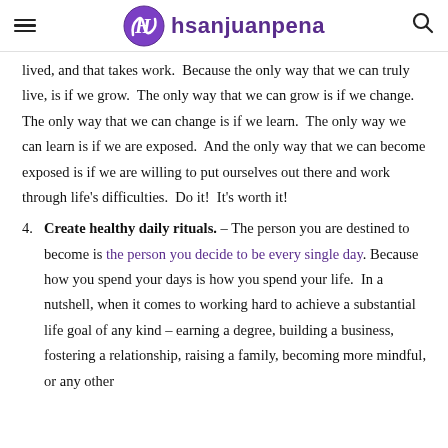hsanjuanpena
lived, and that takes work.  Because the only way that we can truly live, is if we grow.  The only way that we can grow is if we change.  The only way that we can change is if we learn.  The only way we can learn is if we are exposed.  And the only way that we can become exposed is if we are willing to put ourselves out there and work through life's difficulties.  Do it!  It's worth it!
4. Create healthy daily rituals. – The person you are destined to become is the person you decide to be every single day. Because how you spend your days is how you spend your life.  In a nutshell, when it comes to working hard to achieve a substantial life goal of any kind – earning a degree, building a business, fostering a relationship, raising a family, becoming more mindful, or any other